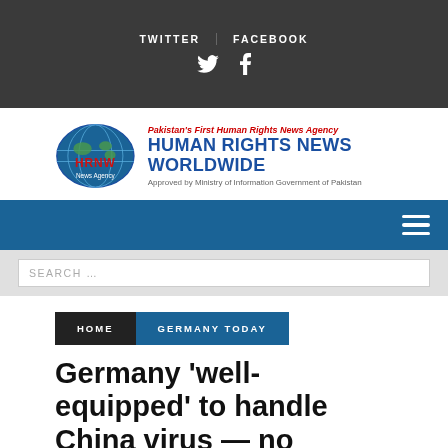TWITTER | FACEBOOK
[Figure (logo): HRNW Human Rights News Worldwide logo with globe and text]
Navigation bar with hamburger menu
SEARCH ...
HOME
GERMANY TODAY
Germany 'well-equipped' to handle China virus — no